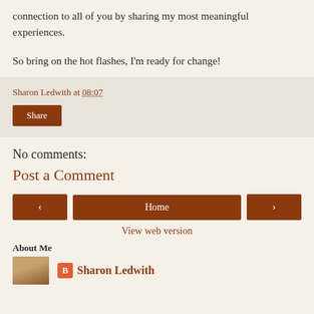connection to all of you by sharing my most meaningful experiences.
So bring on the hot flashes, I'm ready for change!
Sharon Ledwith at 08:07
Share
No comments:
Post a Comment
< Home >
View web version
About Me
Sharon Ledwith